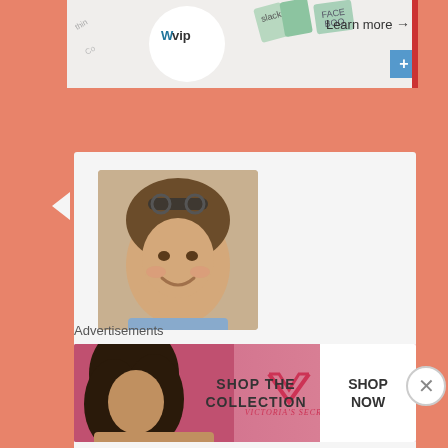[Figure (screenshot): WordPress VIP banner advertisement with logos for Slack, Facebook and other tools. 'Learn more →' button on right.]
[Figure (photo): Avatar photo of a smiling woman with sunglasses on her head, brown hair.]
heatherb2016 on January 28, 2021 at 3:05 pm said:
Mmmmmm, delicious idea! I love all of these flavors!
★ Liked by 1 person
Reply ↓
Advertisements
[Figure (photo): Victoria's Secret advertisement banner: 'SHOP THE COLLECTION' with SHOP NOW button and woman with curly hair on left side.]